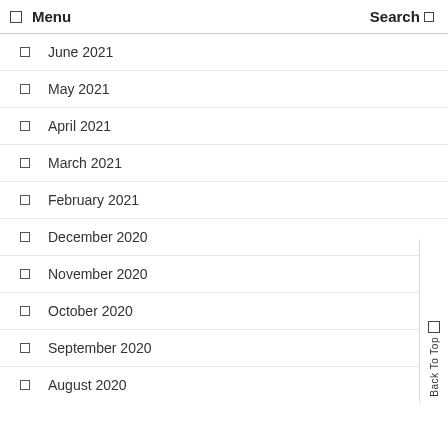Menu  Search
June 2021
May 2021
April 2021
March 2021
February 2021
December 2020
November 2020
October 2020
September 2020
August 2020